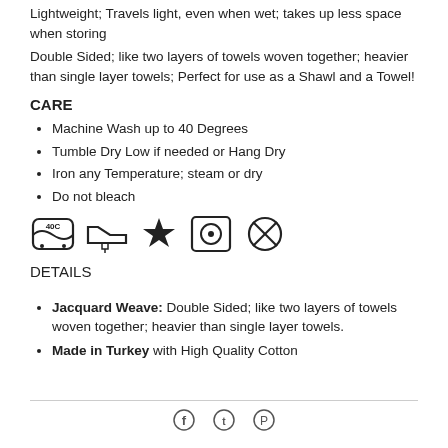Lightweight; Travels light, even when wet; takes up less space when storing
Double Sided; like two layers of towels woven together; heavier than single layer towels; Perfect for use as a Shawl and a Towel!
CARE
Machine Wash up to 40 Degrees
Tumble Dry Low if needed or Hang Dry
Iron any Temperature; steam or dry
Do not bleach
[Figure (illustration): Five laundry care symbols: wash at 40C, iron, tumble dry (star/low heat), tumble dry with dot, do not bleach (crossed circle)]
DETAILS
Jacquard Weave: Double Sided; like two layers of towels woven together; heavier than single layer towels.
Made in Turkey with High Quality Cotton
[Figure (illustration): Social media icons: Facebook, Twitter, Pinterest]